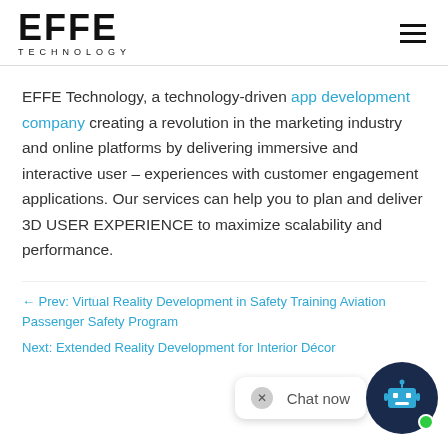EFFE TECHNOLOGY
EFFE Technology, a technology-driven app development company creating a revolution in the marketing industry and online platforms by delivering immersive and interactive user – experiences with customer engagement applications. Our services can help you to plan and deliver 3D USER EXPERIENCE to maximize scalability and performance.
← Prev: Virtual Reality Development in Safety Training Aviation Passenger Safety Program
Next: Extended Reality Development for Interior Décor